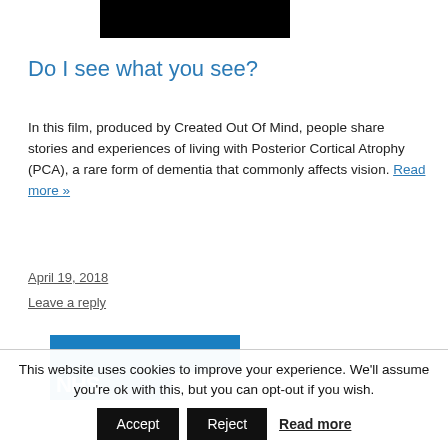[Figure (photo): Black thumbnail image at top of article]
Do I see what you see?
In this film, produced by Created Out Of Mind, people share stories and experiences of living with Posterior Cortical Atrophy (PCA), a rare form of dementia that commonly affects vision. Read more »
April 19, 2018
Leave a reply
[Figure (photo): NHS blue card/booklet image with text 'Helping you pr...']
This website uses cookies to improve your experience. We'll assume you're ok with this, but you can opt-out if you wish.
Accept  Reject  Read more